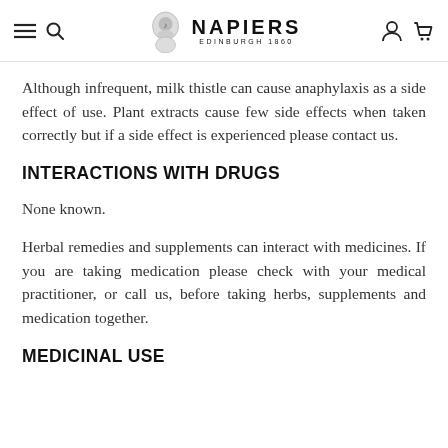NAPIERS EDINBURGH 1860
Although infrequent, milk thistle can cause anaphylaxis as a side effect of use. Plant extracts cause few side effects when taken correctly but if a side effect is experienced please contact us.
INTERACTIONS WITH DRUGS
None known.
Herbal remedies and supplements can interact with medicines. If you are taking medication please check with your medical practitioner, or call us, before taking herbs, supplements and medication together.
MEDICINAL USE